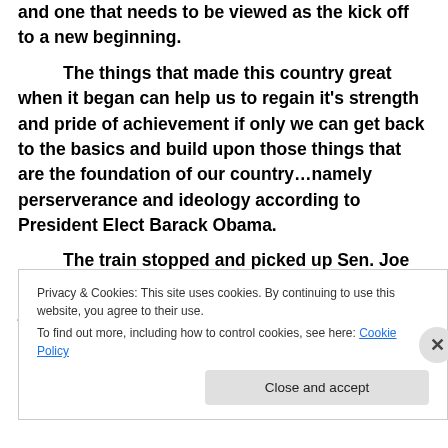and one that needs to be viewed as the kick off to a new beginning.
The things that made this country great when it began can help us to regain it's strength and pride of achievement if only we can get back to the basics and build upon those things that are the foundation of our country…namely perserverance and ideology according to President Elect Barack Obama.
The train stopped and picked up Sen. Joe Biden and his wife in Wilmington, Delaware with just a small
Privacy & Cookies: This site uses cookies. By continuing to use this website, you agree to their use.
To find out more, including how to control cookies, see here: Cookie Policy
Close and accept